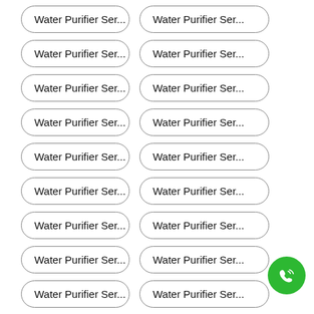Water Purifier Ser...
Water Purifier Ser...
Water Purifier Ser...
Water Purifier Ser...
Water Purifier Ser...
Water Purifier Ser...
Water Purifier Ser...
Water Purifier Ser...
Water Purifier Ser...
Water Purifier Ser...
Water Purifier Ser...
Water Purifier Ser...
Water Purifier Ser...
Water Purifier Ser...
Water Purifier Ser...
Water Purifier Ser...
Water Purifier Ser...
Water Purifier Ser...
Vie...
[Figure (illustration): Green phone icon button in bottom right corner]